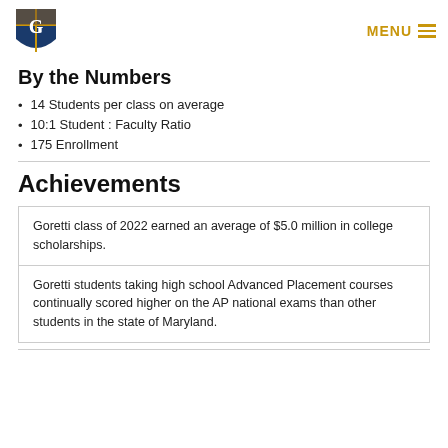MENU
By the Numbers
14 Students per class on average
10:1 Student : Faculty Ratio
175 Enrollment
Achievements
Goretti class of 2022 earned an average of $5.0 million in college scholarships.
Goretti students taking high school Advanced Placement courses continually scored higher on the AP national exams than other students in the state of Maryland.